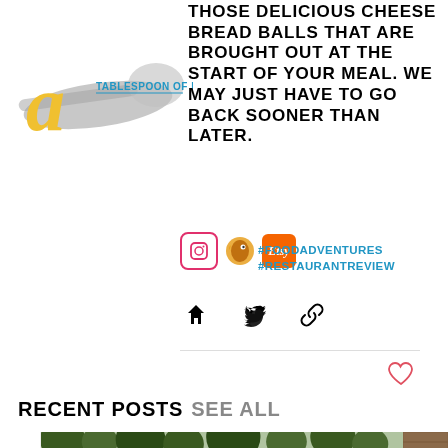[Figure (logo): Tablespoon of Life blog logo with stylized letter A and spoon illustration]
THOSE DELICIOUS CHEESE BREAD BALLS THAT ARE BROUGHT OUT AT THE START OF YOUR MEAL. WE MAY JUST HAVE TO GO BACK SOONER THAN LATER.
#FOODADVENTURES
#RESTAURANTREVIEW
[Figure (infographic): Share icons: Facebook, Twitter, link/copy]
[Figure (infographic): Heart/like icon]
RECENT POSTS SEE ALL
[Figure (photo): Three thumbnail photos in a row showing outdoor scenes]